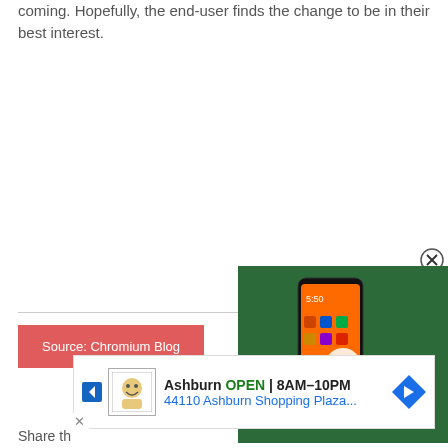coming. Hopefully, the end-user finds the change to be in their best interest.
Source: Chromium Blog
[Figure (screenshot): Video thumbnail overlay showing a smartphone with text 'VILLAIN?:-' on green background with play button, and a close (X in circle) button in top right]
[Figure (screenshot): Advertisement bar showing a local business: Ashburn OPEN 8AM-10PM, 44110 Ashburn Shopping Plaza... with navigation arrow icon]
Share th